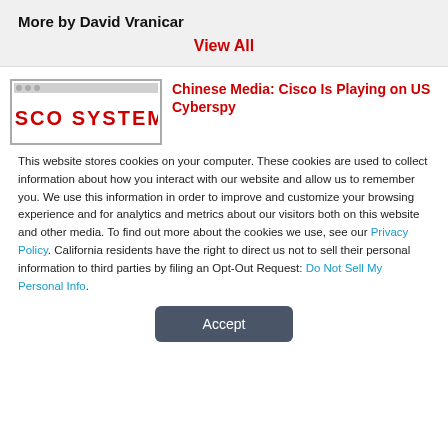More by David Vranicar
View All
[Figure (logo): Cisco Systems logo in red bold uppercase text inside a bordered box]
Chinese Media: Cisco Is Playing on US Cyberspy
This website stores cookies on your computer. These cookies are used to collect information about how you interact with our website and allow us to remember you. We use this information in order to improve and customize your browsing experience and for analytics and metrics about our visitors both on this website and other media. To find out more about the cookies we use, see our Privacy Policy. California residents have the right to direct us not to sell their personal information to third parties by filing an Opt-Out Request: Do Not Sell My Personal Info.
Accept